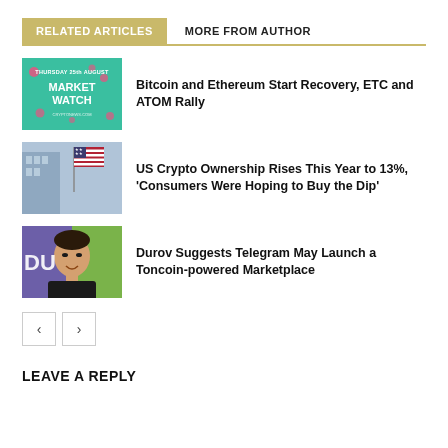RELATED ARTICLES
MORE FROM AUTHOR
[Figure (photo): Market Watch thumbnail - green background with text THURSDAY 25th AUGUST MARKET WATCH]
Bitcoin and Ethereum Start Recovery, ETC and ATOM Rally
[Figure (photo): US flag with city buildings in background]
US Crypto Ownership Rises This Year to 13%, ‘Consumers Were Hoping to Buy the Dip’
[Figure (photo): Durov portrait photo with green/purple background]
Durov Suggests Telegram May Launch a Toncoin-powered Marketplace
LEAVE A REPLY